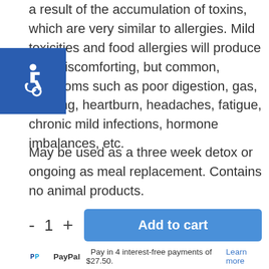a result of the accumulation of toxins, which are very similar to allergies. Mild toxicities and food allergies will produce very discomforting, but common, symptoms such as poor digestion, gas, bloating, heartburn, headaches, fatigue, chronic mild infections, hormone imbalances, etc.
[Figure (logo): Blue square accessibility icon with wheelchair symbol in white]
May be used as a three week detox or ongoing as meal replacement. Contains no animal products.
- 1 + Add to cart
Pay in 4 interest-free payments of $27.50. Learn more